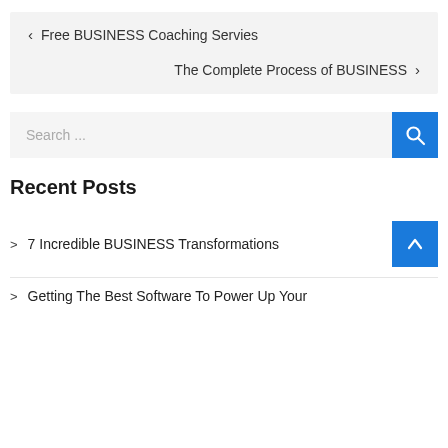< Free BUSINESS Coaching Servies
The Complete Process of BUSINESS >
Search ...
Recent Posts
> 7 Incredible BUSINESS Transformations
> Getting The Best Software To Power Up Your